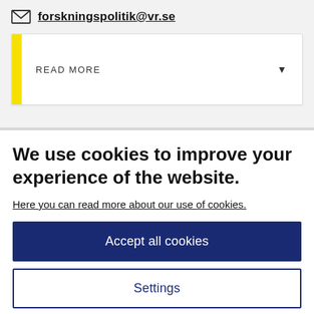forskningspolitik@vr.se
READ MORE
We use cookies to improve your experience of the website.
Here you can read more about our use of cookies.
Accept all cookies
Settings